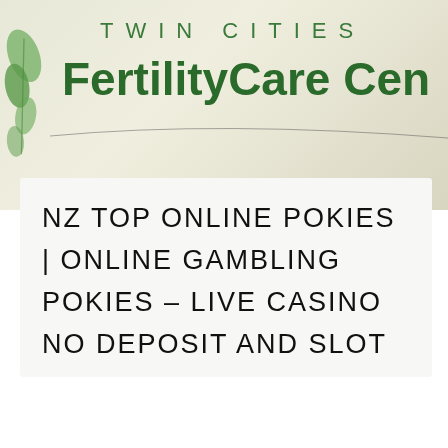[Figure (logo): Twin Cities FertilityCare Center logo with green leaf graphic on cream/beige background. 'TWIN CITIES' in spaced uppercase light green letters above 'FertilityCare Cen' in large bold dark green text.]
NZ TOP ONLINE POKIES | ONLINE GAMBLING POKIES – LIVE CASINO NO DEPOSIT AND SLOT